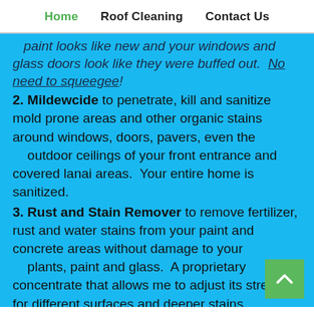Home  Roof Cleaning  Contact Us
paint looks like new and your windows and glass doors look like they were buffed out.  No need to squeegee!
2. Mildewcide to penetrate, kill and sanitize mold prone areas and other organic stains around windows, doors, pavers, even the outdoor ceilings of your front entrance and covered lanai areas.  Your entire home is sanitized.
3. Rust and Stain Remover to remove fertilizer, rust and water stains from your paint and concrete areas without damage to your plants, paint and glass.  A proprietary concentrate that allows me to adjust its strength for different surfaces and deeper stains.
4. Gutter Cleaner to remove the black oil streaks and dinginess from your expensive gutters without harm powder